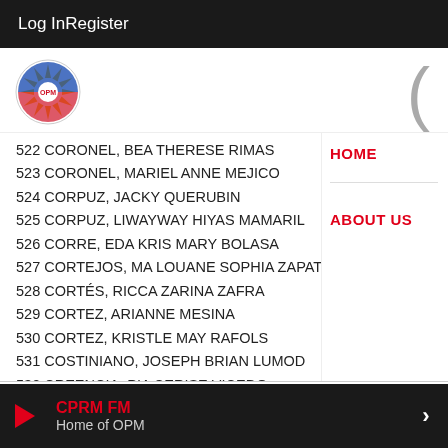Log In   Register
[Figure (logo): CPRM FM logo — circular emblem with Philippine sun rays design in red, blue and yellow]
522 CORONEL, BEA THERESE RIMAS
523 CORONEL, MARIEL ANNE MEJICO
524 CORPUZ, JACKY QUERUBIN
525 CORPUZ, LIWAYWAY HIYAS MAMARIL
526 CORRE, EDA KRIS MARY BOLASA
527 CORTEJOS, MA LOUANE SOPHIA ZAPATO
528 CORTÉS, RICCA ZARINA ZAFRA
529 CORTEZ, ARIANNE MESINA
530 CORTEZ, KRISTLE MAY RAFOLS
531 COSTINIANO, JOSEPH BRIAN LUMOD
532 CREENCIA, PIA CERISE VICEDO
533 CRISMUNDO, EVA MARIE MADELO
534 CRISOSTOMO, CELIN LORIESEL ROSARIO
CPRM FM — Home of OPM